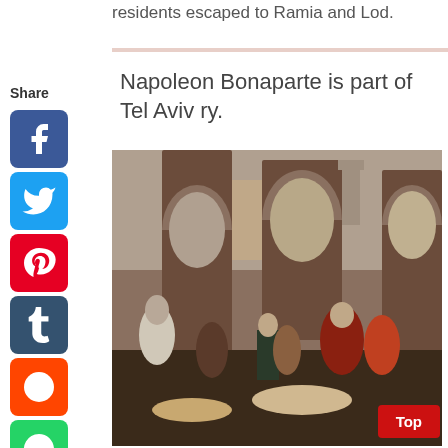residents escaped to Ramia and Lod.
Napoleon Bonaparte is part of Tel Aviv ry.
[Figure (illustration): Painting depicting Napoleon Bonaparte visiting plague victims, set in an arched building with a cityscape visible through the arches. Figures in Middle Eastern and European dress are shown, with Napoleon in the center.]
Top